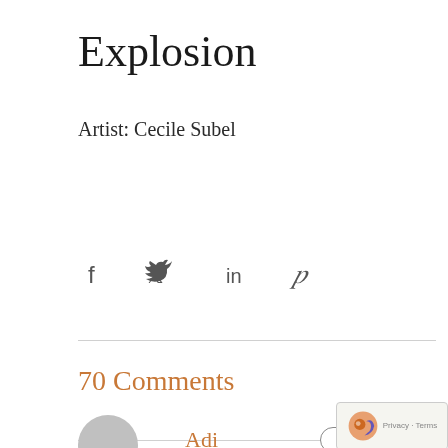Explosion
Artist: Cecile Subel
[Figure (infographic): Social share icons: Facebook (f), Twitter bird, LinkedIn (in), Pinterest (p)]
70 Comments
Adi
Reply